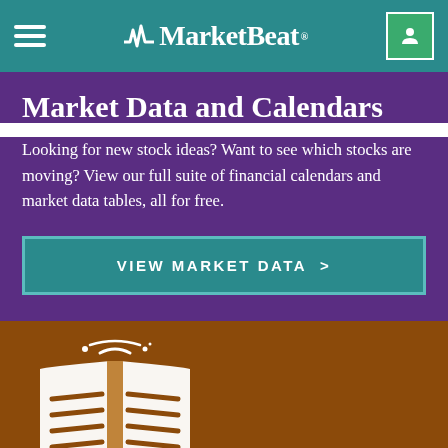MarketBeat
Market Data and Calendars
Looking for new stock ideas? Want to see which stocks are moving? View our full suite of financial calendars and market data tables, all for free.
VIEW MARKET DATA >
[Figure (illustration): Open book icon in white on brown background, representing investing education resources]
Investing Education and